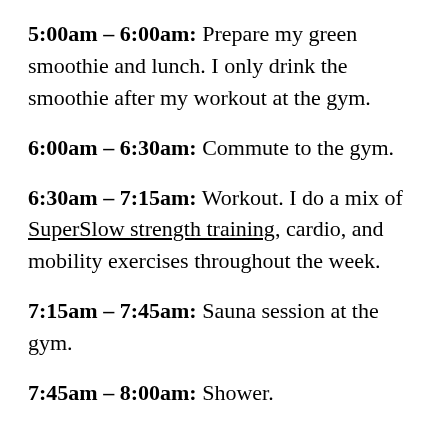5:00am – 6:00am: Prepare my green smoothie and lunch. I only drink the smoothie after my workout at the gym.
6:00am – 6:30am: Commute to the gym.
6:30am – 7:15am: Workout. I do a mix of SuperSlow strength training, cardio, and mobility exercises throughout the week.
7:15am – 7:45am: Sauna session at the gym.
7:45am – 8:00am: Shower.